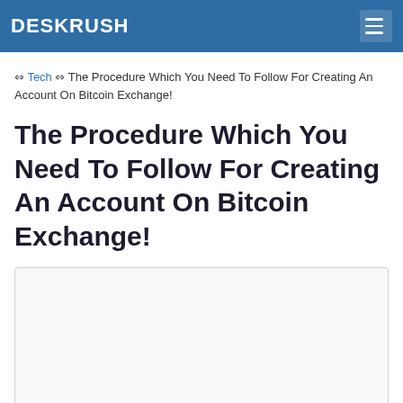DESKRUSH
⇔ Tech ⇔ The Procedure Which You Need To Follow For Creating An Account On Bitcoin Exchange!
The Procedure Which You Need To Follow For Creating An Account On Bitcoin Exchange!
[Figure (other): White rectangular image placeholder with light gray border]